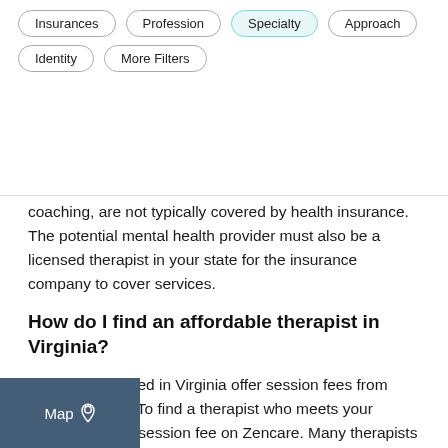[Figure (screenshot): Navigation filter buttons: Insurances, Profession, Specialty (active/highlighted), Approach, Identity, More Filters]
coaching, are not typically covered by health insurance. The potential mental health provider must also be a licensed therapist in your state for the insurance company to cover services.
How do I find an affordable therapist in Virginia?
Therapists located in Virginia offer session fees from <$100/session. To find a therapist who meets your budget, filter by session fee on Zencare. Many therapists offer a sliding scale, or a range of session fees based on need to clients who would not otherwise be able to afford typical therapy rates in Virginia. If you are struggling to pay for therapy, consider asking for a sliding
[Figure (screenshot): Map button overlay in bottom-left corner, dark blue background with 'Map' text and location pin icon]